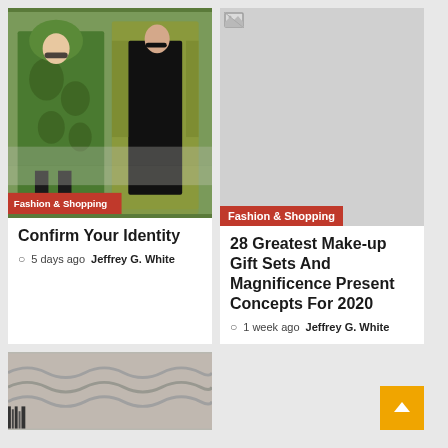[Figure (photo): Two fashion models wearing green patterned outfits on a runway]
Fashion & Shopping
Confirm Your Identity
5 days ago  Jeffrey G. White
[Figure (photo): Placeholder image with broken image icon]
Fashion & Shopping
28 Greatest Make-up Gift Sets And Magnificence Present Concepts For 2020
1 week ago  Jeffrey G. White
[Figure (photo): Partial gray textured image at bottom left]